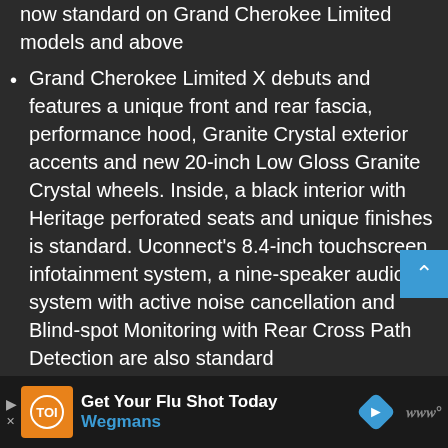now standard on Grand Cherokee Limited models and above
Grand Cherokee Limited X debuts and features a unique front and rear fascia, performance hood, Granite Crystal exterior accents and new 20-inch Low Gloss Granite Crystal wheels. Inside, a black interior with Heritage perforated seats and unique finishes is standard. Uconnect's 8.4-inch touchscreen infotainment system, a nine-speaker audio system with active noise cancellation and Blind-spot Monitoring with Rear Cross Path Detection are also standard
Grand Cherokee Overland gets a new 20-inch Heritage wheel and Summit models get a unique optional 20-inch wheel